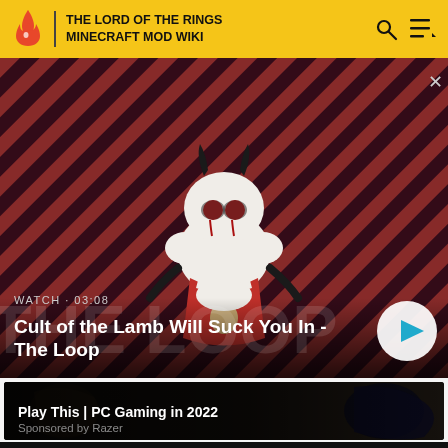THE LORD OF THE RINGS MINECRAFT MOD WIKI
[Figure (screenshot): Video thumbnail showing Cult of the Lamb character on a red and dark striped background with 'THE LOOP' watermark text. WATCH • 03:08 label and play button overlay.]
WATCH • 03:08
Cult of the Lamb Will Suck You In - The Loop
[Figure (screenshot): Dark gaming advertisement banner showing PC game characters. Title: Play This | PC Gaming in 2022. Sponsored by Razer.]
Play This | PC Gaming in 2022
Sponsored by Razer